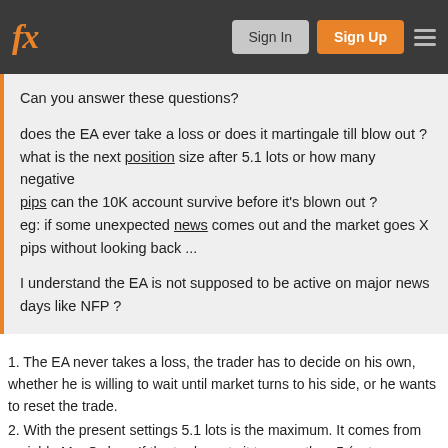fx  Sign In  Sign Up
Can you answer these questions?

does the EA ever take a loss or does it martingale till blow out ?
what is the next position size after 5.1 lots or how many negative pips can the 10K account survive before it's blown out ?
eg: if some unexpected news comes out and the market goes X pips without looking back ...

I understand the EA is not supposed to be active on major news days like NFP ?
1. The EA never takes a loss, the trader has to decide on his own, whether he is willing to wait until market turns to his side, or he wants to reset the trade.
2. With the present settings 5.1 lots is the maximum. It comes from variable MaxOrders. If the trader sets it to more than 5 (not recommended), 6th order may be more than 10 lots (also depends from other variables).
3. With MaxOrders=5 and account of 10K the market may go not more than 100 pips to the 'wrong' side, but settings you can see on monitored account